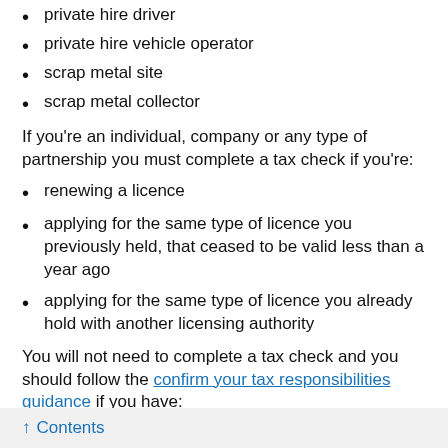private hire driver
private hire vehicle operator
scrap metal site
scrap metal collector
If you're an individual, company or any type of partnership you must complete a tax check if you're:
renewing a licence
applying for the same type of licence you previously held, that ceased to be valid less than a year ago
applying for the same type of licence you already hold with another licensing authority
You will not need to complete a tax check and you should follow the confirm your tax responsibilities guidance if you have:
never held a licence of the same type before
had a licence of the same type that ceased to be valid a
↑ Contents